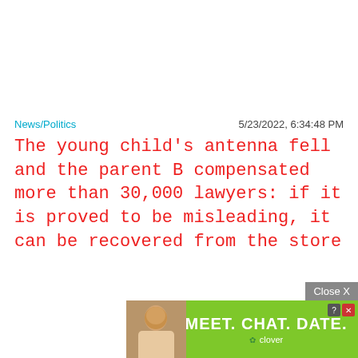News/Politics | 5/23/2022, 6:34:48 PM
The young child's antenna fell and the parent B compensated more than 30,000 lawyers: if it is proved to be misleading, it can be recovered from the store
[Figure (other): Advertisement banner: Close X button above a green banner with a woman's photo on left and text 'MEET. CHAT. DATE.' with Clover branding]